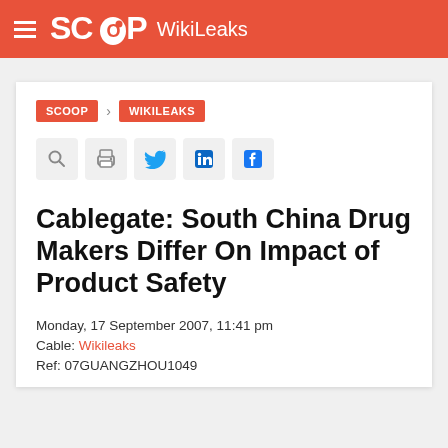SCOOP WikiLeaks
SCOOP > WIKILEAKS
Cablegate: South China Drug Makers Differ On Impact of Product Safety
Monday, 17 September 2007, 11:41 pm
Cable: Wikileaks
Ref: 07GUANGZHOU1049